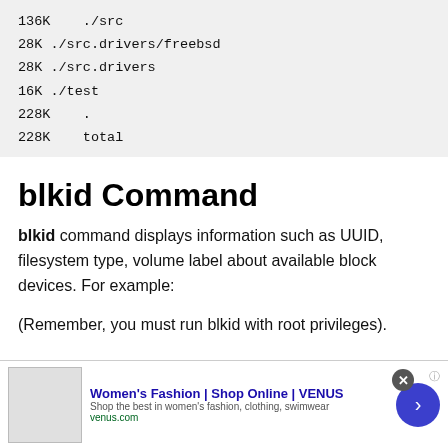136K    ./src
28K ./src.drivers/freebsd
28K ./src.drivers
16K ./test
228K    .
228K    total
blkid Command
blkid command displays information such as UUID, filesystem type, volume label about available block devices. For example:
(Remember, you must run blkid with root privileges).